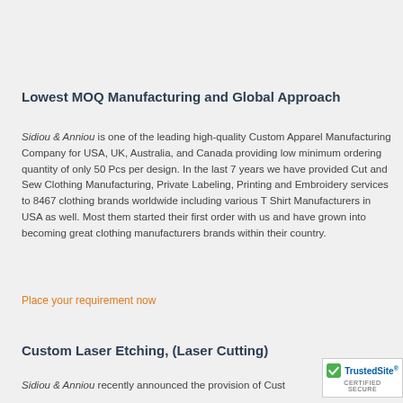Lowest MOQ Manufacturing and Global Approach
Sidiou & Anniou is one of the leading high-quality Custom Apparel Manufacturing Company for USA, UK, Australia, and Canada providing low minimum ordering quantity of only 50 Pcs per design. In the last 7 years we have provided Cut and Sew Clothing Manufacturing, Private Labeling, Printing and Embroidery services to 8467 clothing brands worldwide including various T Shirt Manufacturers in USA as well. Most them started their first order with us and have grown into becoming great clothing manufacturers brands within their country.
Place your requirement now
Custom Laser Etching, (Laser Cutting)
Sidiou & Anniou recently announced the provision of Cust...